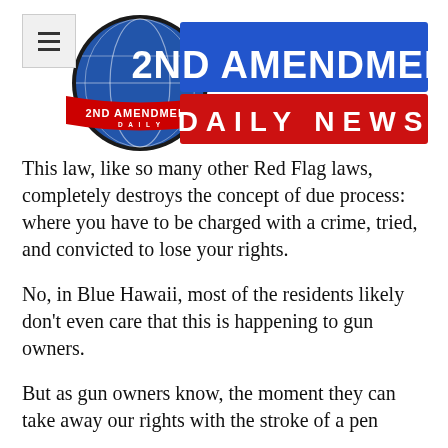[Figure (logo): 2nd Amendment Daily News logo with globe graphic, blue banner reading '2ND AMENDMENT' and red banner reading 'DAILY NEWS']
This law, like so many other Red Flag laws, completely destroys the concept of due process:  where you have to be charged with a crime, tried, and convicted to lose your rights.
No, in Blue Hawaii, most of the residents likely don't even care that this is happening to gun owners.
But as gun owners know, the moment they can take away our rights with the stroke of a pen